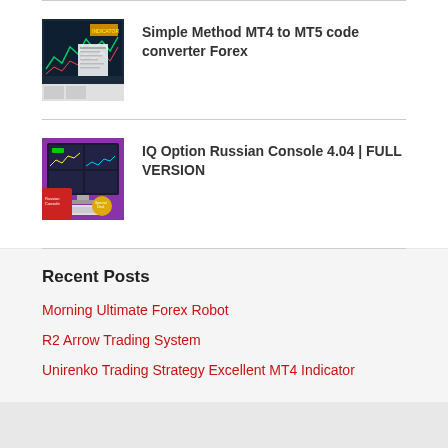[Figure (screenshot): Thumbnail screenshot of MT4/MT5 trading charts on a dark background]
Simple Method MT4 to MT5 code converter Forex
[Figure (screenshot): Thumbnail screenshot of IQ Option Russian Console trading software on a desktop monitor]
IQ Option Russian Console 4.04 | FULL VERSION
Recent Posts
Morning Ultimate Forex Robot
R2 Arrow Trading System
Unirenko Trading Strategy Excellent MT4 Indicator